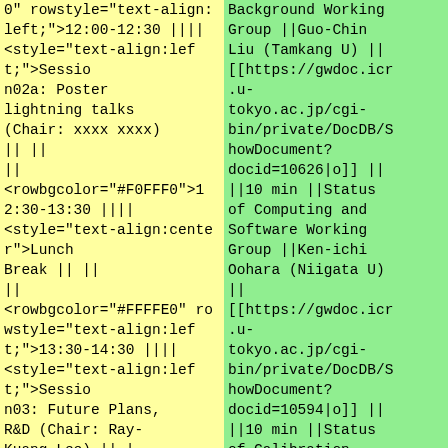0" rowstyle="text-align:left;">12:00-12:30 ||||
<style="text-align:left;">Session02a: Poster lightning talks (Chair: xxxx xxxx) || ||
||
<rowbgcolor="#F0FFF0">12:30-13:30 ||||
<style="text-align:center">Lunch Break || ||
||
<rowbgcolor="#FFFFE0" rowstyle="text-align:left;">13:30-14:30 ||||
<style="text-align:left;">Session03: Future Plans, R&D (Chair: Ray-Kuang Lee) || |
Background Working Group ||Guo-Chin Liu (Tamkang U) ||
[[https://gwdoc.icr.u-tokyo.ac.jp/cgi-bin/private/DocDB/ShowDocument?docid=10626|o]] ||
||10 min ||Status of Computing and Software Working Group ||Ken-ichi Oohara (Niigata U) ||
[[https://gwdoc.icr.u-tokyo.ac.jp/cgi-bin/private/DocDB/ShowDocument?docid=10594|o]] ||
||10 min ||Status of Calibration Working Group ||Yuki Inoue (NCU)